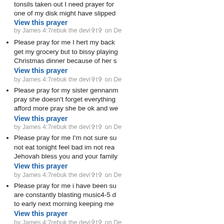tonsils taken out I need prayer for one of my disk might have slipped
View this prayer
by James 4:7rebuk the devi✞t✞ on De
Please pray for me I hert my back get my grocery but to bissy playing Christmas dinner because of her s
View this prayer
by James 4:7rebuk the devi✞t✞ on De
Please pray for my sister gennanm pray she doesn't forget everything afford more pray she be ok and we
View this prayer
by James 4:7rebuk the devi✞t✞ on De
Please pray for me I'm not sure su not eat tonight feel bad im not rea Jehovah bless you and your famil
View this prayer
by James 4:7rebuk the devi✞t✞ on De
Please pray for me i have been su are constantly blasting music4-5 d to early next morning keeping me
View this prayer
by James 4:7rebuk the devi✞t✞ on De